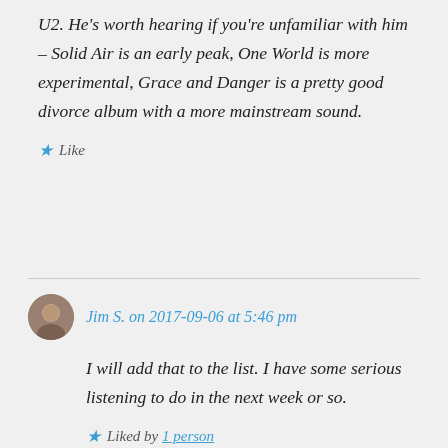U2. He's worth hearing if you're unfamiliar with him – Solid Air is an early peak, One World is more experimental, Grace and Danger is a pretty good divorce album with a more mainstream sound.
Like
Jim S. on 2017-09-06 at 5:46 pm
I will add that to the list. I have some serious listening to do in the next week or so.
Liked by 1 person